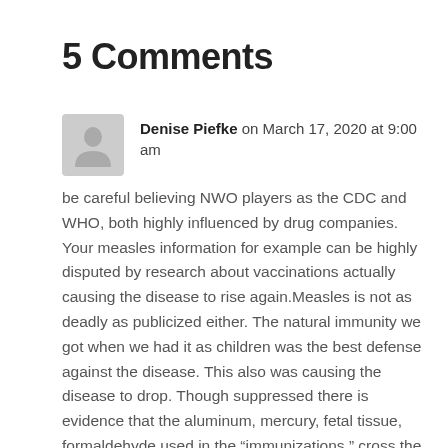5 Comments
Denise Piefke on March 17, 2020 at 9:00 am
be careful believing NWO players as the CDC and WHO, both highly influenced by drug companies. Your measles information for example can be highly disputed by research about vaccinations actually causing the disease to rise again.Measles is not as deadly as publicized either. The natural immunity we got when we had it as children was the best defense against the disease. This also was causing the disease to drop. Though suppressed there is evidence that the aluminum, mercury, fetal tissue, formaldehyde used in the “immunizations ” cross the blood brain barrier and cause sever